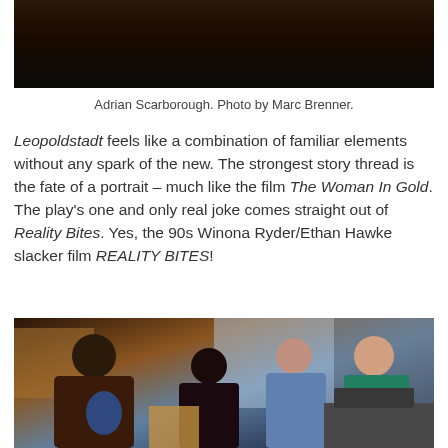[Figure (photo): Partial top photo of Adrian Scarborough on stage, dark background]
Adrian Scarborough. Photo by Marc Brenner.
Leopoldstadt feels like a combination of familiar elements without any spark of the new. The strongest story thread is the fate of a portrait – much like the film The Woman In Gold. The play's one and only real joke comes straight out of Reality Bites. Yes, the 90s Winona Ryder/Ethan Hawke slacker film REALITY BITES!
[Figure (photo): Still from the film Reality Bites showing four people in a convenience store scene]